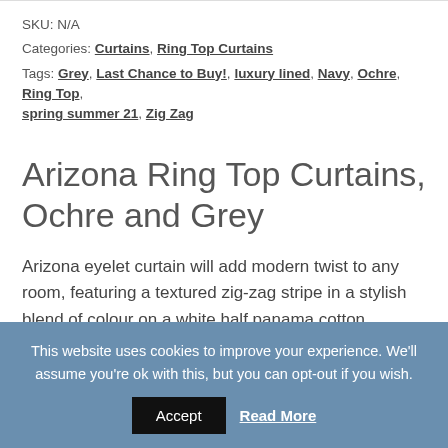SKU: N/A
Categories: Curtains, Ring Top Curtains
Tags: Grey, Last Chance to Buy!, luxury lined, Navy, Ochre, Ring Top, spring summer 21, Zig Zag
Arizona Ring Top Curtains, Ochre and Grey
Arizona eyelet curtain will add modern twist to any room, featuring a textured zig-zag stripe in a stylish blend of colour on a white half panama cotton background. These curtains are fully lined, and sold in pairs. Matching cushions
This website uses cookies to improve your experience. We'll assume you're ok with this, but you can opt-out if you wish.